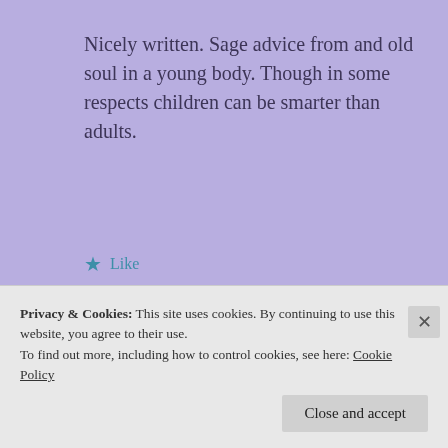Nicely written. Sage advice from and old soul in a young body. Though in some respects children can be smarter than adults.
Like
LOG IN TO REPLY
jcm3rockstar
Privacy & Cookies: This site uses cookies. By continuing to use this website, you agree to their use.
To find out more, including how to control cookies, see here: Cookie Policy
Close and accept